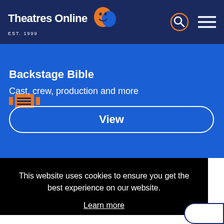Theatres Online EST. 1999
Backstage Bible
Cast, crew, production and more
View
This website uses cookies to ensure you get the best experience on our website.
Learn more
Got it!